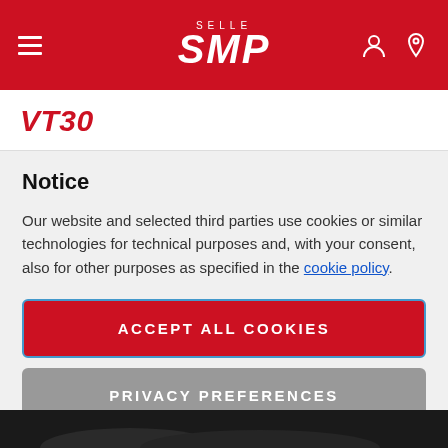Selle SMP — navigation header with logo
VT30
Notice
Our website and selected third parties use cookies or similar technologies for technical purposes and, with your consent, also for other purposes as specified in the cookie policy.
ACCEPT ALL COOKIES
PRIVACY PREFERENCES